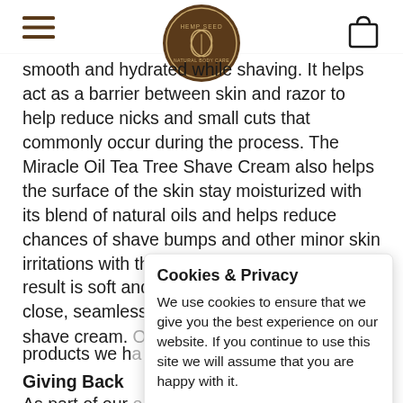Hemp Seed Natural Body Care logo, navigation menu, cart icon
smooth and hydrated while shaving. It helps act as a barrier between skin and razor to help reduce nicks and small cuts that commonly occur during the process. The Miracle Oil Tea Tree Shave Cream also helps the surface of the skin stay moisturized with its blend of natural oils and helps reduce chances of shave bumps and other minor skin irritations with the help of tea tree oil. The result is soft and smooth skin thanks to a close, seamless shave with the help of this shave cream. [partial] products we h[partial]
Giving Back
As part of our [partial] are 100% Veg[partial] powered facilit[partial] sale is donated to the nonprofit, Get Together
Cookies & Privacy

We use cookies to ensure that we give you the best experience on our website. If you continue to use this site we will assume that you are happy with it.

Read More   Got it